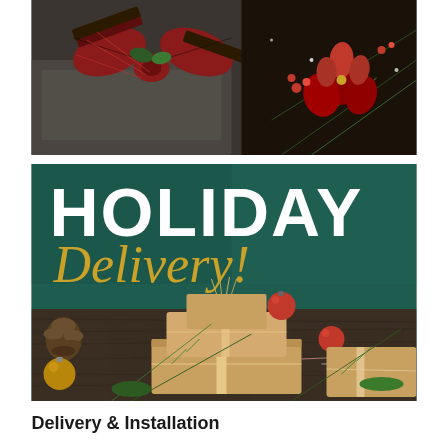[Figure (photo): Close-up photo of Christmas gift boxes with plaid tartan ribbon bow on the left side and holiday floral arrangement with red poinsettias, pine branches, and red berries on the right side]
[Figure (photo): Holiday delivery promotional image with dark teal/green background showing text 'HOLIDAY Delivery!' in white and gold script lettering, with kraft paper wrapped Christmas gifts, pine cones, red ornament balls, and pine branches on a wooden surface in the foreground]
Delivery & Installation